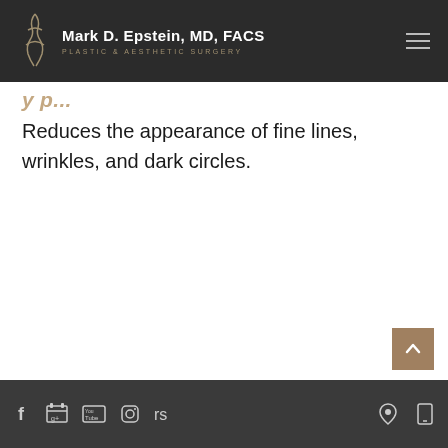Mark D. Epstein, MD, FACS – PLASTIC & AESTHETIC SURGERY
Reduces the appearance of fine lines, wrinkles, and dark circles.
Social media icons: Facebook, Google+, YouTube, Instagram, RealSelf; Location and Phone icons